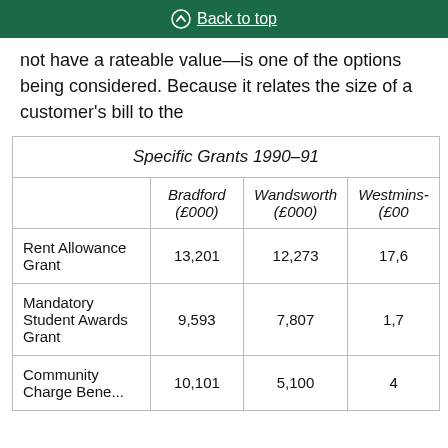Back to top
not have a rateable value—is one of the options being considered. Because it relates the size of a customer's bill to the
|  | Bradford (£000) | Wandsworth (£000) | Westminster (£000) |
| --- | --- | --- | --- |
| Rent Allowance Grant | 13,201 | 12,273 | 17,6... |
| Mandatory Student Awards Grant | 9,593 | 7,807 | 1,7... |
| Community Charge Benefit... | 10,101 | 5,100 | 4... |